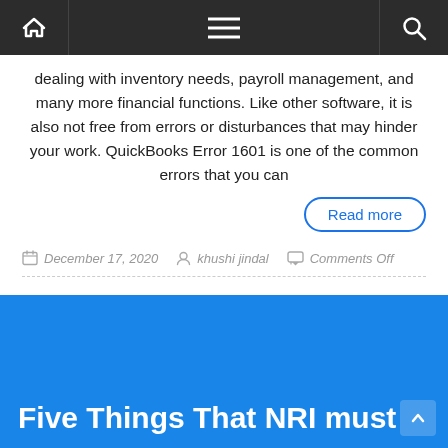Navigation bar with home, menu, and search icons
dealing with inventory needs, payroll management, and many more financial functions. Like other software, it is also not free from errors or disturbances that may hinder your work. QuickBooks Error 1601 is one of the common errors that you can
Read more
December 17, 2020   khushi jindal   Comments Off
Five Things That NRI must